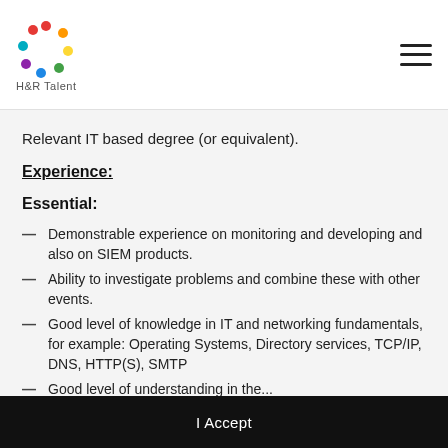H&R Talent
Relevant IT based degree (or equivalent).
Experience:
Essential:
Demonstrable experience on monitoring and developing and also on SIEM products.
Ability to investigate problems and combine these with other events.
Good level of knowledge in IT and networking fundamentals, for example: Operating Systems, Directory services, TCP/IP, DNS, HTTP(S), SMTP
Good level of understanding in the...
We use cookies to personalise content and ads, to provide social media features and to analyse our traffic. We also share information about your use of our site with our social media, advertising and analytics partners who may combine it with other information that you've provided to them or that they've collected from your use of their services. You consent to our cookies if you continue to use our website. More
I Accept